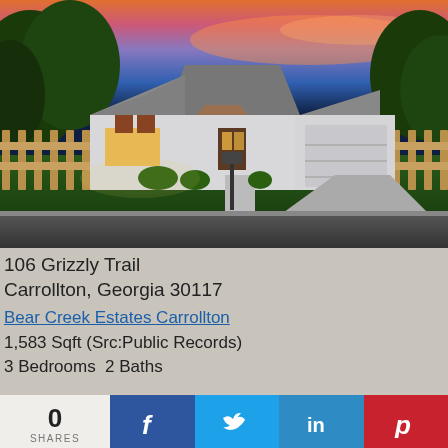[Figure (photo): Exterior photo of a single-story ranch-style home at dusk/sunset. The house has gray siding, brown shutters, an attached two-car garage, green lawn, wooden fence on both sides, and a pink/orange sunset sky with trees in background.]
106 Grizzly Trail
Carrollton, Georgia 30117
Bear Creek Estates Carrollton
1,583 Sqft (Src:Public Records)
3 Bedrooms  2 Baths
0
SHARES